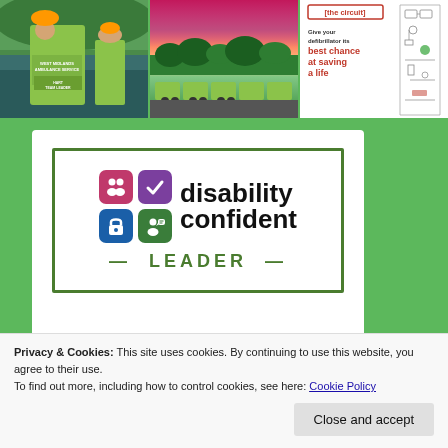[Figure (photo): Ambulance crew member in yellow/green high-vis jacket with West Midlands Ambulance Service HART Team Leader text visible]
[Figure (photo): Pink and orange sunset sky over trees with green ambulances lined up in a row]
[Figure (infographic): Defibrillator circuit diagram advertisement with text: [the circuit] Give your defibrillator its best chance at saving a life]
[Figure (logo): Disability Confident LEADER logo with four coloured icons (pink people, purple checkmark, blue padlock, green person with speech bubble) and text: disability confident LEADER]
Privacy & Cookies: This site uses cookies. By continuing to use this website, you agree to their use.
To find out more, including how to control cookies, see here: Cookie Policy
Close and accept